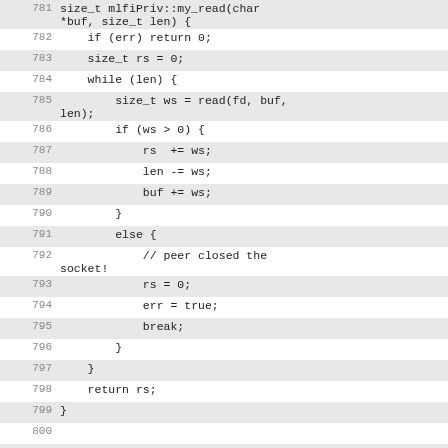[Figure (screenshot): Source code listing showing C++ function mlfiPriv::my_read and beginning of mlfiPriv::check_uribl_signers, with line numbers 781-803, alternating highlighted and plain background rows.]